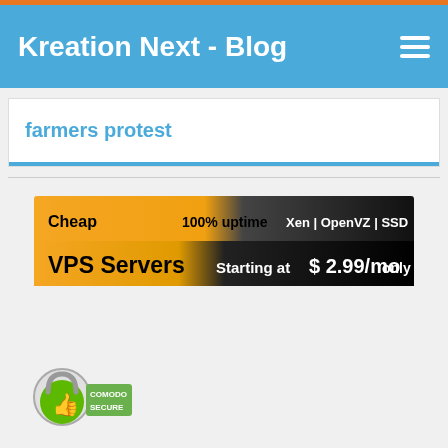Kreation Next - Blog
farmers protest
[Figure (infographic): VPS Servers advertisement banner: Cheap | 100% uptime | Xen | OpenVZ | SSD — VPS Servers Starting at $ 2.99/mo only]
[Figure (logo): Comodo Secure trust badge with padlock icon and thumbs up]